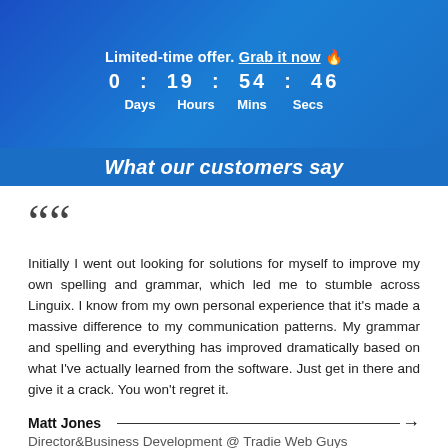Limited-time offer. Grab it now 🔥
0 : 19 : 54 : 46
Days Hours Mins Secs
What our customers say
““
Initially I went out looking for solutions for myself to improve my own spelling and grammar, which led me to stumble across Linguix. I know from my own personal experience that it's made a massive difference to my communication patterns. My grammar and spelling and everything has improved dramatically based on what I've actually learned from the software. Just get in there and give it a crack. You won't regret it.
Matt Jones
Director&Business Development @ Tradie Web Guys